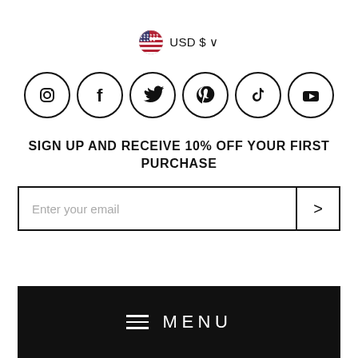[Figure (infographic): Currency selector showing US flag circle icon followed by 'USD $' text and a chevron/dropdown arrow]
[Figure (infographic): Row of 6 social media icons in circles: Instagram, Facebook, Twitter, Pinterest, TikTok, YouTube]
SIGN UP AND RECEIVE 10% OFF YOUR FIRST PURCHASE
[Figure (infographic): Email input field with placeholder 'Enter your email' and a submit arrow button on the right]
[Figure (infographic): Black menu bar with hamburger icon and MENU text in white]